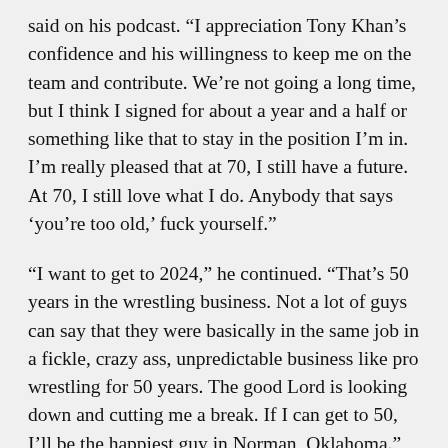said on his podcast. “I appreciation Tony Khan’s confidence and his willingness to keep me on the team and contribute. We’re not going a long time, but I think I signed for about a year and a half or something like that to stay in the position I’m in. I’m really pleased that at 70, I still have a future. At 70, I still love what I do. Anybody that says ‘you’re too old,’ fuck yourself.”
“I want to get to 2024,” he continued. “That’s 50 years in the wrestling business. Not a lot of guys can say that they were basically in the same job in a fickle, crazy ass, unpredictable business like pro wrestling for 50 years. The good Lord is looking down and cutting me a break. If I can get to 50, I’ll be the happiest guy in Norman, Oklahoma.”